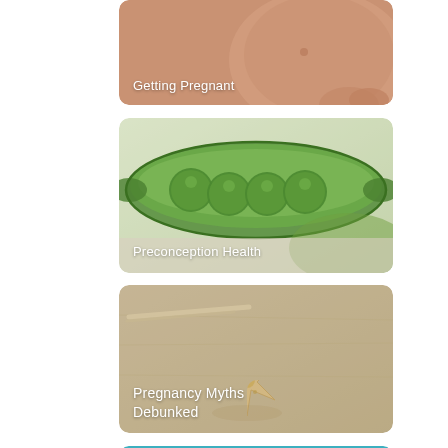[Figure (photo): Partial view of pregnant belly, skin-toned background, card with rounded corners. Label: Getting Pregnant]
[Figure (photo): Close-up of an open green pea pod with round peas inside on a light background. Label: Preconception Health]
[Figure (photo): Sandy beach surface with a starfish and a small piece of driftwood. Label: Pregnancy Myths Debunked]
[Figure (photo): Turquoise water surface at the bottom of the page, partially visible.]